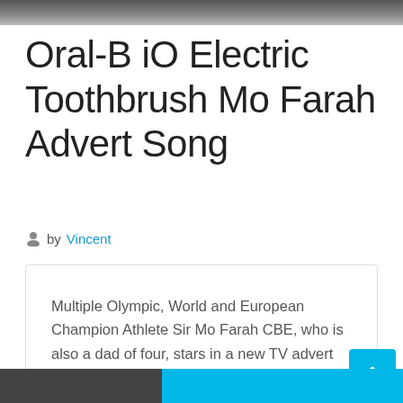[Figure (photo): Top banner image, dark/grey photograph cropped at top of page]
Oral-B iO Electric Toothbrush Mo Farah Advert Song
by Vincent
Multiple Olympic, World and European Champion Athlete Sir Mo Farah CBE, who is also a dad of four, stars in a new TV advert for Oral-B iO electric toothbrush. The...
LATEST SPOTS
[Figure (photo): Bottom partial image strip, partially visible photograph with cyan/blue bar overlay]